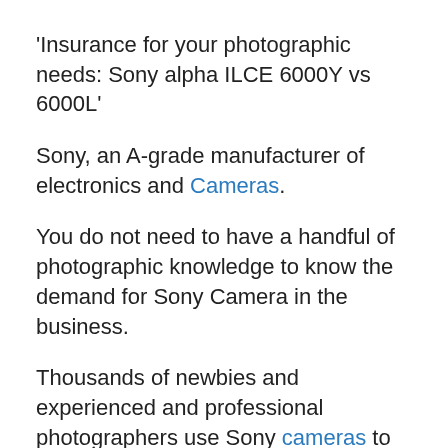'Insurance for your photographic needs: Sony alpha ILCE 6000Y vs 6000L'
Sony, an A-grade manufacturer of electronics and Cameras.
You do not need to have a handful of photographic knowledge to know the demand for Sony Camera in the business.
Thousands of newbies and experienced and professional photographers use Sony cameras to show their photographic skills.
Have you heard of Sony alpha ILCE 6000L vs 6000Y?